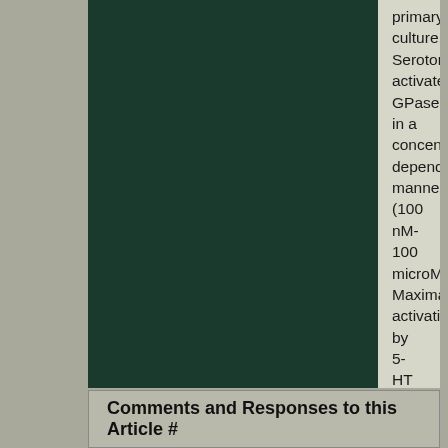primary culture. Serotonin activated GPase in a concentration-dependent manner (100 nM-100 microM). Maximal activation by 5-HT was achieved by 50 microM and resulted in a 167% increase in the number of reactive sites (P < 0.001). MDMA(+) (500 nM-50 microM) directly stimulated GPase activity with maximal activation induced by 5 microM, which caused a 70% increase in the number of reactive sites (P < 0.001). The 5-HT2 receptor agonist, 1-(2,5-dimethoxy-4-bromophenyl)-2-aminopropane (DOB), also displayed a concentration-dependent increase in the number of GPase reactive sites. Maximal stimulation by DOB occurred at 100 nM which increased the number of reactive sites by 166% (P < 0.001).
Comments and Responses to this Article #